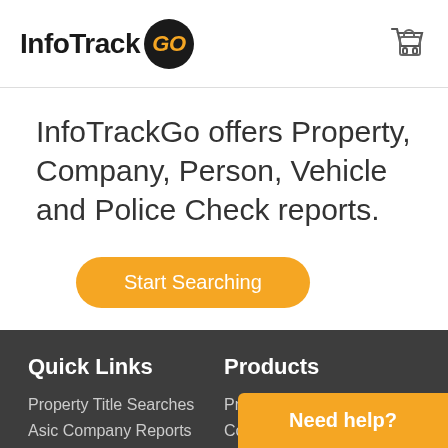InfoTrack GO
InfoTrackGo offers Property, Company, Person, Vehicle and Police Check reports.
Start Searching
Quick Links
Products
Property Title Searches
Property
Asic Company Reports
Comp
Need help?